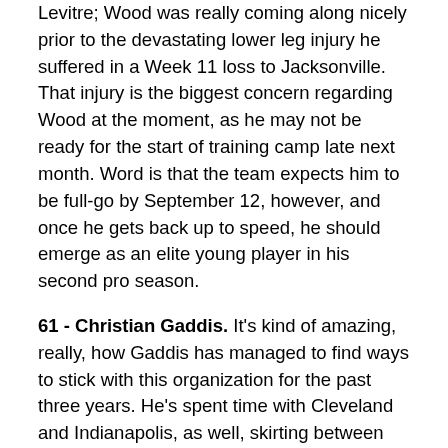Levitre; Wood was really coming along nicely prior to the devastating lower leg injury he suffered in a Week 11 loss to Jacksonville. That injury is the biggest concern regarding Wood at the moment, as he may not be ready for the start of training camp late next month. Word is that the team expects him to be full-go by September 12, however, and once he gets back up to speed, he should emerge as an elite young player in his second pro season.
61 - Christian Gaddis. It's kind of amazing, really, how Gaddis has managed to find ways to stick with this organization for the past three years. He's spent time with Cleveland and Indianapolis, as well, skirting between practice squads and the back end of active rosters along the way. Right now, he's Buffalo's primary backup at the center position, but don't be surprised if the same hiring staff look for ways to shore that...